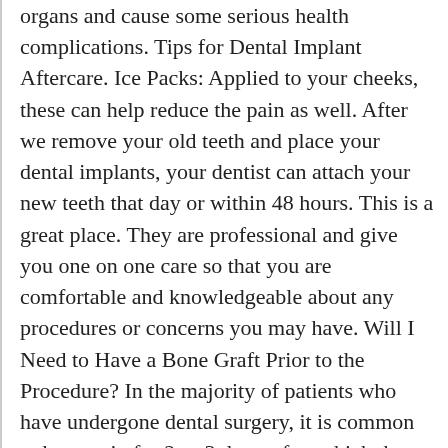organs and cause some serious health complications. Tips for Dental Implant Aftercare. Ice Packs: Applied to your cheeks, these can help reduce the pain as well. After we remove your old teeth and place your dental implants, your dentist can attach your new teeth that day or within 48 hours. This is a great place. They are professional and give you one on one care so that you are comfortable and knowledgeable about any procedures or concerns you may have. Will I Need to Have a Bone Graft Prior to the Procedure? In the majority of patients who have undergone dental surgery, it is common to have pain for 2 or 3 days, after which the pain gradually subsides. H » Dental Service » What to Expect After an Implant Has Been Placed? It's normal to still have some pain at this point. Dental implant infection is the main responsible factor of Implant failure; it is associated with pain, swelling with